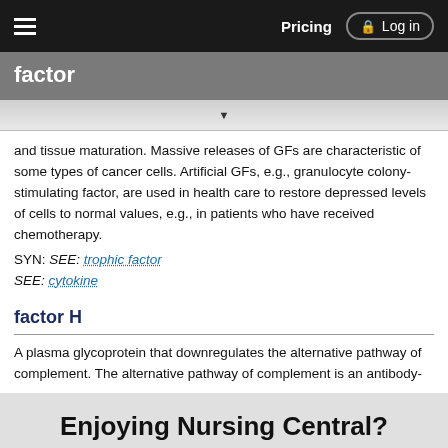factor | Pricing | Log in
factor
and tissue maturation. Massive releases of GFs are characteristic of some types of cancer cells. Artificial GFs, e.g., granulocyte colony-stimulating factor, are used in health care to restore depressed levels of cells to normal values, e.g., in patients who have received chemotherapy. SYN: SEE: trophic factor SEE: cytokine
factor H
A plasma glycoprotein that downregulates the alternative pathway of complement. The alternative pathway of complement is an antibody-
Enjoying Nursing Central?
Purchase a subscription
I'm already a subscriber